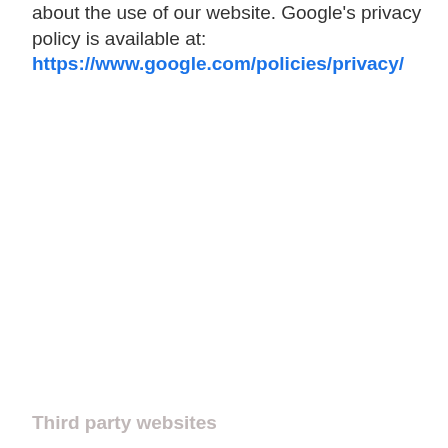about the use of our website. Google's privacy policy is available at: https://www.google.com/policies/privacy/
Third party websites